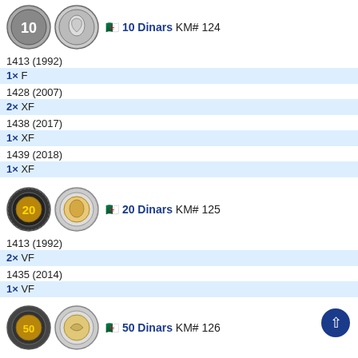[Figure (photo): Two coin images for 10 Dinars KM# 124 - obverse showing '10' and reverse showing bird]
🇩🇿 20 Dinars KM# 124
1413 (1992)
1× F
1428 (2007)
2× XF
1438 (2017)
1× XF
1439 (2018)
1× XF
[Figure (photo): Two coin images for 20 Dinars KM# 125 - obverse showing '20' and reverse]
🇩🇿 20 Dinars KM# 125
1413 (1992)
2× VF
1435 (2014)
1× VF
[Figure (photo): Two coin images for 50 Dinars KM# 126 - partially visible]
🇩🇿 50 Dinars KM# 126